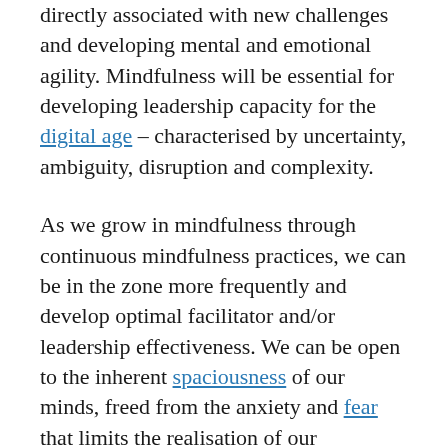…directly associated with new challenges and developing mental and emotional agility. Mindfulness will be essential for developing leadership capacity for the digital age – characterised by uncertainty, ambiguity, disruption and complexity.
As we grow in mindfulness through continuous mindfulness practices, we can be in the zone more frequently and develop optimal facilitator and/or leadership effectiveness. We can be open to the inherent spaciousness of our minds, freed from the anxiety and fear that limits the realisation of our capacities. Being in-the-moment, we are better able to respond adaptably and creatively to changing internal and external realities.